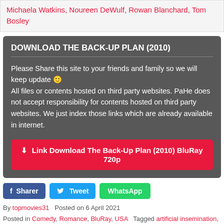Michaela Watkins, Noureen DeWulf, Rowan Blanchard, Tom Bosley
DOWNLOAD THE BACK-UP PLAN (2010)
Please Share this site to your friends and family so we will keep update 🙂
All files or contents hosted on third party websites. PaHe does not accept responsibility for contents hosted on third party websites. We just index those links which are already available in internet.
⬇  Link Download The Back-Up Plan (2010) BluRay 720p
f  Sharer
Tweet
WhatsApp
By topmovies31   Posted on 6 April 2021
Posted in Comedy, Romance, BluRay, USA   Tagged artificial insemination, doctor, duringcreditsstinger, kiss, motherhood, pregnancy, romantic comedy, single mother, sperm bank
RELATED MOVIES